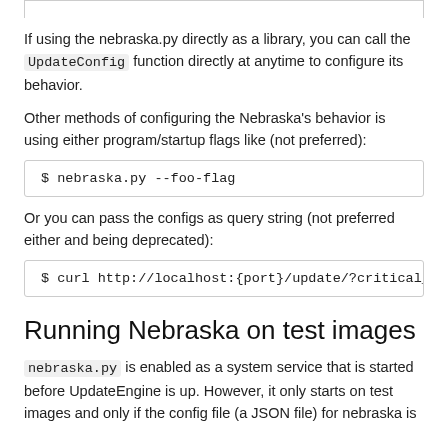If using the nebraska.py directly as a library, you can call the UpdateConfig function directly at anytime to configure its behavior.
Other methods of configuring the Nebraska's behavior is using either program/startup flags like (not preferred):
[Figure (screenshot): Code box showing: $ nebraska.py --foo-flag]
Or you can pass the configs as query string (not preferred either and being deprecated):
[Figure (screenshot): Code box showing: $ curl http://localhost:{port}/update/?critical_u]
Running Nebraska on test images
nebraska.py is enabled as a system service that is started before UpdateEngine is up. However, it only starts on test images and only if the config file (a JSON file) for nebraska is